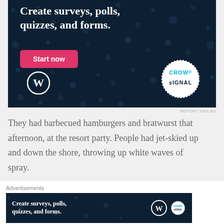[Figure (illustration): Advertisement banner for Crowdsignal on WordPress: dark navy background with dot pattern, bold white text 'Create surveys, polls, quizzes, and forms.', a pink 'Start now' button, WordPress logo (white W in circle), and Crowdsignal badge (dotted circle with CROWDsIGNAL text in blue/white).]
REPORT THIS AD
They had barbecued hamburgers and bratwurst that afternoon, at the resort party. People had jet-skied up and down the shore, throwing up white waves of spray.
Advertisements
[Figure (illustration): Advertisement banner for Crowdsignal: dark navy background, white bold text 'Create surveys, polls, quizzes, and forms.' with WordPress logo and Crowdsignal badge on right side.]